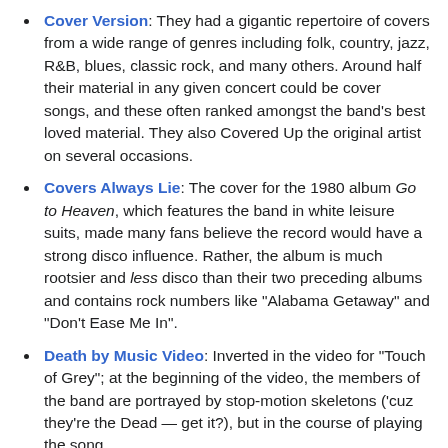Cover Version: They had a gigantic repertoire of covers from a wide range of genres including folk, country, jazz, R&B, blues, classic rock, and many others. Around half their material in any given concert could be cover songs, and these often ranked amongst the band's best loved material. They also Covered Up the original artist on several occasions.
Covers Always Lie: The cover for the 1980 album Go to Heaven, which features the band in white leisure suits, made many fans believe the record would have a strong disco influence. Rather, the album is much rootsier and less disco than their two preceding albums and contains rock numbers like "Alabama Getaway" and "Don't Ease Me In".
Death by Music Video: Inverted in the video for "Touch of Grey"; at the beginning of the video, the members of the band are portrayed by stop-motion skeletons ('cuz they're the Dead — get it?), but in the course of playing the song,